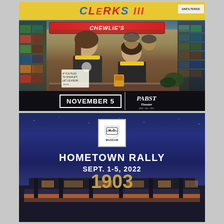[Figure (photo): Clerks III movie promotional poster showing two men in work uniforms behind a convenience store counter, with 'CLERKS III' logo at top and 'CHEWLIE'S' sign. Bottom bar shows 'NOVEMBER 5' and 'Pabst Theater' logo.]
[Figure (photo): Harley-Davidson Museum Hometown Rally promotional image. Shows Harley-Davidson Museum logo (shield emblem with MUSEUM text) on dark blue night sky background, with text 'HOMETOWN RALLY SEPT. 1-5, 2022' and a building silhouette with '1903' numbers visible at bottom.]